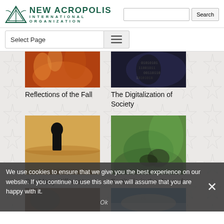New Acropolis International Organization
[Figure (screenshot): Website screenshot of New Acropolis International Organization with navigation, article cards, and cookie consent banner]
Reflections of the Fall
The Digitalization of Society
Our Many Different Realities
Fortitude in the Face of Difficulties
We use cookies to ensure that we give you the best experience on our website. If you continue to use this site we will assume that you are happy with it.